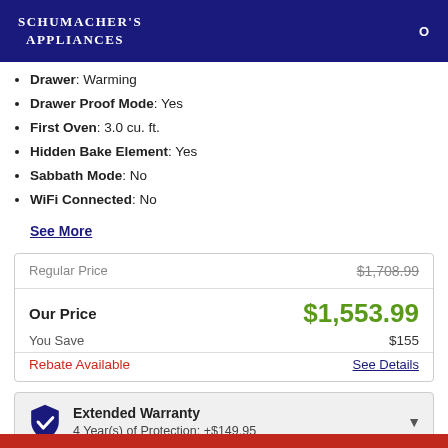Schumacher's Appliances
Drawer: Warming
Drawer Proof Mode: Yes
First Oven: 3.0 cu. ft.
Hidden Bake Element: Yes
Sabbath Mode: No
WiFi Connected: No
See More
| Label | Value |
| --- | --- |
| Regular Price | $1,708.99 |
| Our Price | $1,553.99 |
| You Save | $155 |
| Rebate Available | See Details |
Extended Warranty
4 Year(s) of Protection: +$149.95